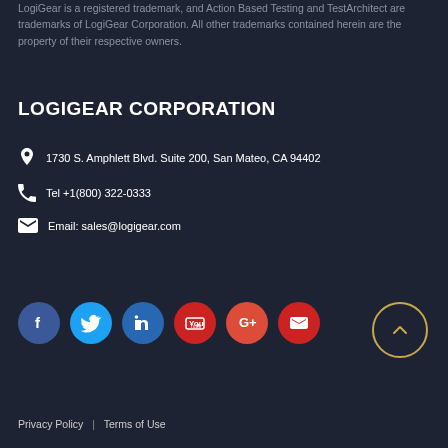LogiGear is a registered trademark, and Action Based Testing and TestArchitect are trademarks of LogiGear Corporation. All other trademarks contained herein are the property of their respective owners.
LOGIGEAR CORPORATION
1730 S. Amphlett Blvd. Suite 200, San Mateo, CA 94402
Tel +1(800) 322-0333
Email: sales@logigear.com
[Figure (other): Social media icons: Facebook, Twitter, LinkedIn, YouTube, Google+, Email]
Privacy Policy | Terms of Use